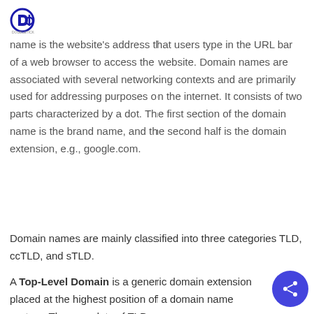DoubleTick logo
name is the website's address that users type in the URL bar of a web browser to access the website. Domain names are associated with several networking contexts and are primarily used for addressing purposes on the internet. It consists of two parts characterized by a dot. The first section of the domain name is the brand name, and the second half is the domain extension, e.g., google.com.
Domain names are mainly classified into three categories TLD, ccTLD, and sTLD.
A Top-Level Domain is a generic domain extension placed at the highest position of a domain name system. There are lots of TLDs